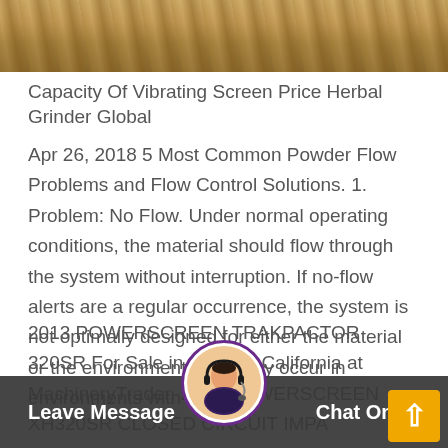[Figure (photo): Partial photo of industrial machinery or wooden/metal equipment, cropped at top of page]
Capacity Of Vibrating Screen Price Herbal Grinder Global
Apr 26, 2018 5 Most Common Powder Flow Problems and Flow Control Solutions. 1. Problem: No Flow. Under normal operating conditions, the material should flow through the system without interruption. If no-flow alerts are a regular occurrence, the system is not optimally designed for either the material or the environment. This may occur in environments with
2013 POWERSCREEN TRAKPACTOR 320SR For Sale in Corona, California at MachineryTrader. 2013 POWERSCREEN XH320SR CLOSED CIRCUIT IMPA CRUSHING AND SCREEN LANT WITH HOPPE EXTENSION FEATURES ITS: The Powerscreen XH320 Horizontal Shaft Impactor is a highly compact
Leave Message   Chat Online